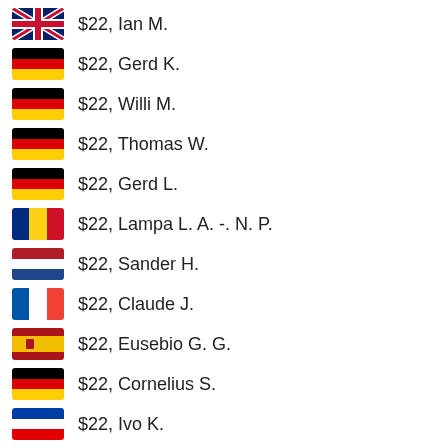$22, Ian M.
$22, Gerd K.
$22, Willi M.
$22, Thomas W.
$22, Gerd L.
$22, Lampa L. A. -. N. P.
$22, Sander H.
$22, Claude J.
$22, Eusebio G. G.
$22, Cornelius S.
$22, Ivo K.
$22, Rodrigo D.